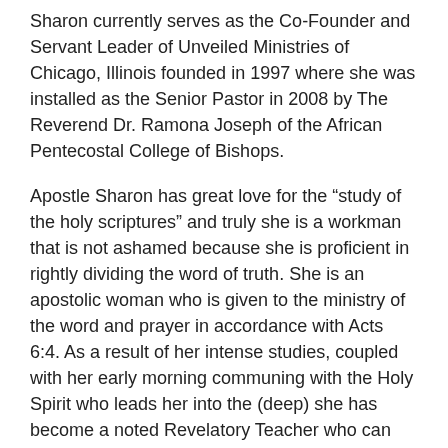Sharon currently serves as the Co-Founder and Servant Leader of Unveiled Ministries of Chicago, Illinois founded in 1997 where she was installed as the Senior Pastor in 2008 by The Reverend Dr. Ramona Joseph of the African Pentecostal College of Bishops.
Apostle Sharon has great love for the “study of the holy scriptures” and truly she is a workman that is not ashamed because she is proficient in rightly dividing the word of truth. She is an apostolic woman who is given to the ministry of the word and prayer in accordance with Acts 6:4. As a result of her intense studies, coupled with her early morning communing with the Holy Spirit who leads her into the (deep) she has become a noted Revelatory Teacher who can reveal New Truths and uncover Mysteries hidden in the Word of God.
Prior to realization of her “divine purpose and calling” in the kingdom and the discovery of her ministry gifts, Apostle Sharon had professional career aspirations of